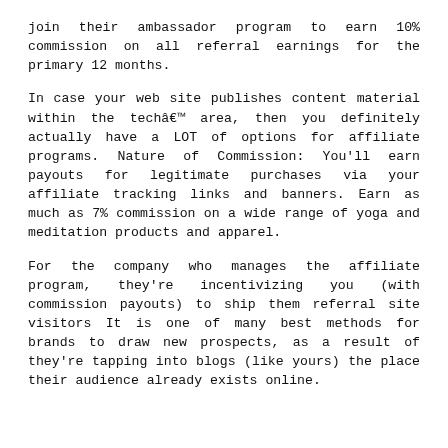join their ambassador program to earn 10% commission on all referral earnings for the primary 12 months.
In case your web site publishes content material within the techâ€™ area, then you definitely actually have a LOT of options for affiliate programs. Nature of Commission: You'll earn payouts for legitimate purchases via your affiliate tracking links and banners. Earn as much as 7% commission on a wide range of yoga and meditation products and apparel.
For the company who manages the affiliate program, they're incentivizing you (with commission payouts) to ship them referral site visitors It is one of many best methods for brands to draw new prospects, as a result of they're tapping into blogs (like yours) the place their audience already exists online.